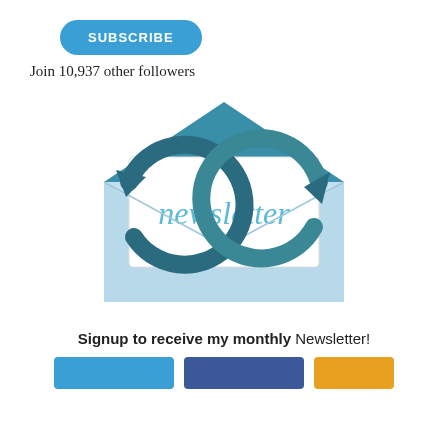[Figure (illustration): Blue SUBSCRIBE button with rounded corners]
Join 10,937 other followers
[Figure (illustration): Newsletter icon: open envelope with a white card labeled 'newsletter' in blue cursive text, surrounded by circular dark teal arrows indicating subscription/update cycle]
Signup to receive my monthly Newsletter!
[Figure (illustration): Row of three colored buttons at the bottom: blue, dark blue, and orange/yellow]